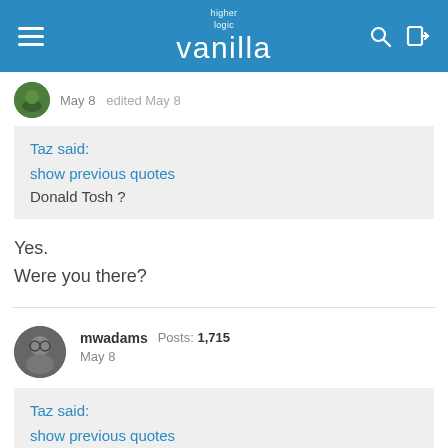higher logic vanilla
May 8  edited May 8
Taz said:
show previous quotes
Donald Tosh ?
Yes.
Were you there?
mwadams  Posts: 1,715  May 8
Taz said:
show previous quotes
Big Finish too ?